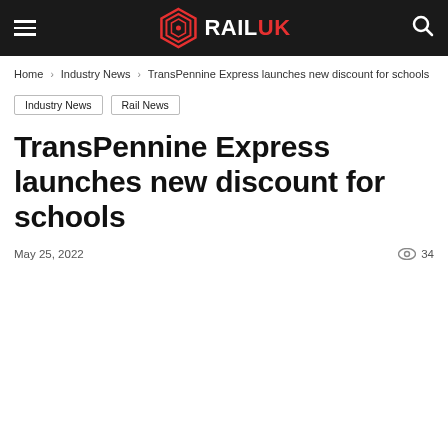RAIL UK
Home › Industry News › TransPennine Express launches new discount for schools
Industry News
Rail News
TransPennine Express launches new discount for schools
May 25, 2022    34